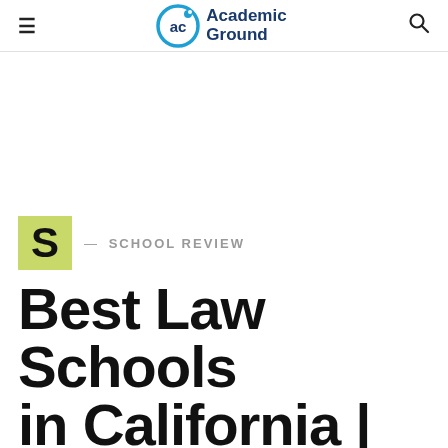Academic Ground
[Figure (logo): Academic Ground logo with circular 'ac' icon and bold blue text]
S — SCHOOL REVIEW
Best Law Schools in California | 2022